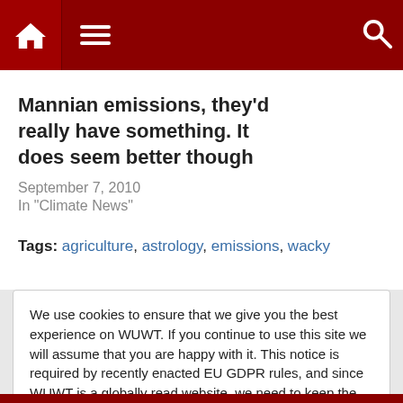WUWT navigation bar with home, menu, and search icons
Mannian emissions, they'd really have something. It does seem better though
September 7, 2010
In "Climate News"
Tags: agriculture, astrology, emissions, wacky
We use cookies to ensure that we give you the best experience on WUWT. If you continue to use this site we will assume that you are happy with it. This notice is required by recently enacted EU GDPR rules, and since WUWT is a globally read website, we need to keep the bureaucrats off our case! Cookie Policy
Close and accept